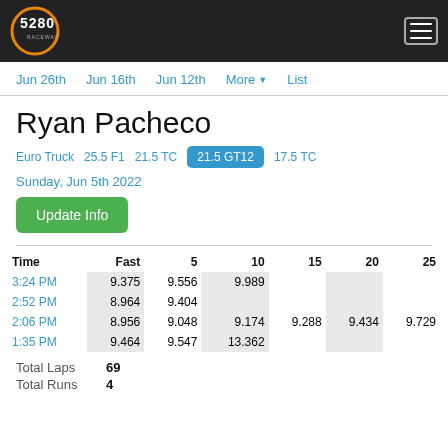5280 Raceway
Jun 26th  Jun 16th  Jun 12th  More  List
Ryan Pacheco
Euro Truck   25.5 F1   21.5 TC   21.5 GT12   17.5 TC
Sunday, Jun 5th 2022
Update Info
| Time | Fast | 5 | 10 | 15 | 20 | 25 |
| --- | --- | --- | --- | --- | --- | --- |
| 3:24 PM | 9.375 | 9.556 | 9.989 |  |  |  |
| 2:52 PM | 8.964 | 9.404 |  |  |  |  |
| 2:06 PM | 8.956 | 9.048 | 9.174 | 9.288 | 9.434 | 9.729 |
| 1:35 PM | 9.464 | 9.547 | 13.362 |  |  |  |
Total Laps   69
Total Runs   4